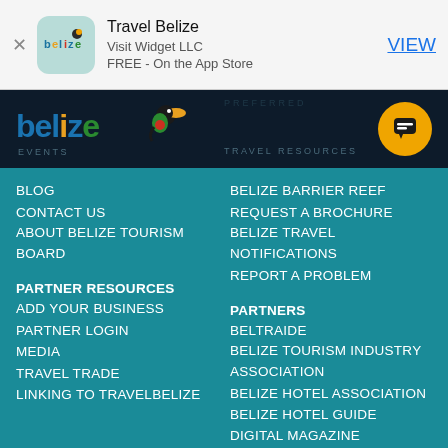[Figure (screenshot): App Store banner for Travel Belize app by Visit Widget LLC, FREE on the App Store, with VIEW button]
[Figure (logo): Belize tourism logo with colorful toucan and text belize on dark navy background, with EVENTS and TRAVEL RESOURCES navigation labels and orange chat button]
BLOG
CONTACT US
ABOUT BELIZE TOURISM BOARD
BELIZE BARRIER REEF
REQUEST A BROCHURE
BELIZE TRAVEL NOTIFICATIONS
REPORT A PROBLEM
PARTNER RESOURCES
ADD YOUR BUSINESS
PARTNER LOGIN
MEDIA
TRAVEL TRADE
LINKING TO TRAVELBELIZE
PARTNERS
BELTRAIDE
BELIZE TOURISM INDUSTRY ASSOCIATION
BELIZE HOTEL ASSOCIATION
BELIZE HOTEL GUIDE DIGITAL MAGAZINE